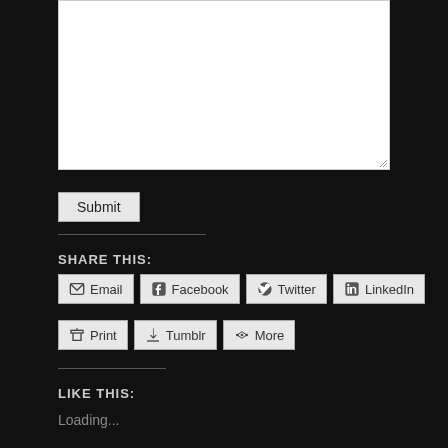[Figure (screenshot): White textarea input box for comment submission]
Submit
SHARE THIS:
Email
Facebook
Twitter
LinkedIn
Print
Tumblr
More
LIKE THIS:
Loading...